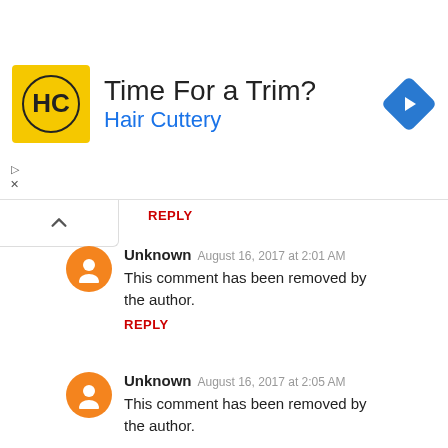[Figure (screenshot): Advertisement banner for Hair Cuttery with logo, text 'Time For a Trim? Hair Cuttery', and a blue diamond navigation icon]
REPLY
Unknown  August 16, 2017 at 2:01 AM
This comment has been removed by the author.
REPLY
Unknown  August 16, 2017 at 2:05 AM
This comment has been removed by the author.
satyanidhi  October 4, 2017 at 4:13 PM
[Hindi text content]